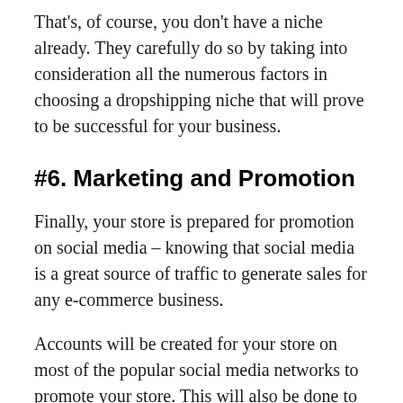That's, of course, you don't have a niche already. They carefully do so by taking into consideration all the numerous factors in choosing a dropshipping niche that will prove to be successful for your business.
#6. Marketing and Promotion
Finally, your store is prepared for promotion on social media – knowing that social media is a great source of traffic to generate sales for any e-commerce business.
Accounts will be created for your store on most of the popular social media networks to promote your store. This will also be done to raise